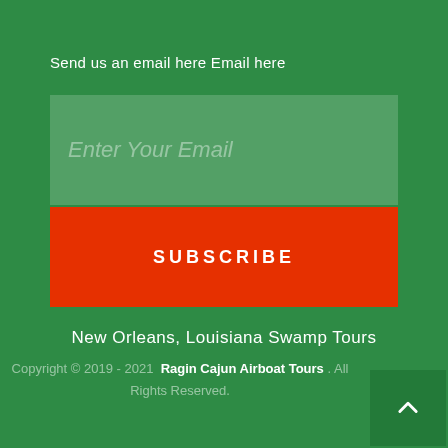Send us an email here Email here
[Figure (other): Email input field placeholder showing 'Enter Your Email' text on a semi-transparent green background]
SUBSCRIBE
New Orleans, Louisiana Swamp Tours
Copyright © 2019 - 2021  Ragin Cajun Airboat Tours . All Rights Reserved.